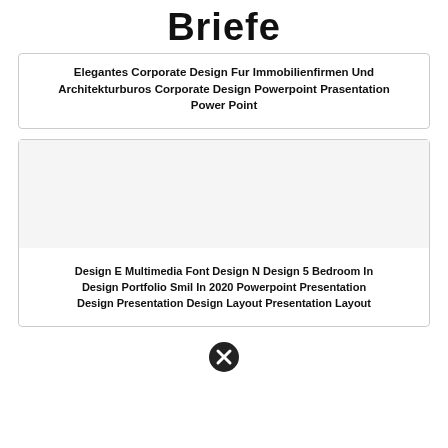Briefe
Elegantes Corporate Design Fur Immobilienfirmen Und Architekturburos Corporate Design Powerpoint Prasentation Power Point
[Figure (illustration): Empty gray placeholder image area inside a card]
Design E Multimedia Font Design N Design 5 Bedroom In Design Portfolio Smil In 2020 Powerpoint Presentation Design Presentation Design Layout Presentation Layout
[Figure (illustration): Close/cancel button circle with X icon]